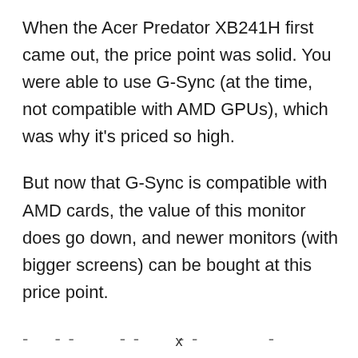When the Acer Predator XB241H first came out, the price point was solid. You were able to use G-Sync (at the time, not compatible with AMD GPUs), which was why it's priced so high.
But now that G-Sync is compatible with AMD cards, the value of this monitor does go down, and newer monitors (with bigger screens) can be bought at this price point.
- - - - - - - - - - - - - - - - - - -
x